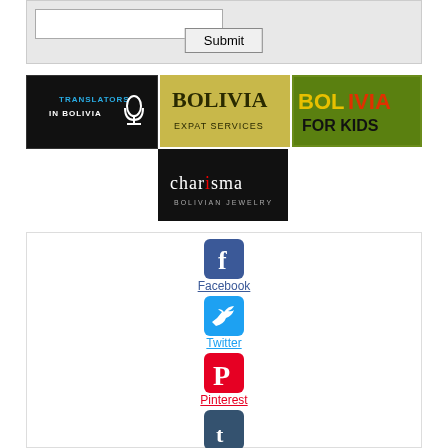[Figure (screenshot): Form area with input box and Submit button on grey background]
[Figure (logo): Translators in Bolivia banner - dark background with cyan and white text and microphone icon]
[Figure (logo): Bolivia Expat Services banner - golden/olive background with BOLIVIA text]
[Figure (logo): Bolivia For Kids banner - green background with BOLIVIA FOR KIDS text in red/yellow/black]
[Figure (logo): Charisma Bolivian Jewelry banner - black background with white text]
[Figure (screenshot): Social media links section: Facebook, Twitter, Pinterest, Tumblr icons with links]